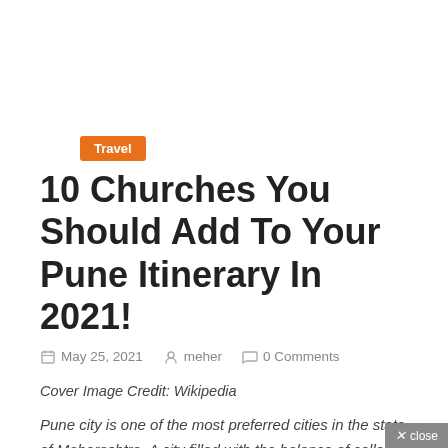Travel
10 Churches You Should Add To Your Pune Itinerary In 2021!
May 25, 2021   meher   0 Comments
Cover Image Credit: Wikipedia
Pune city is one of the most preferred cities in the state of Maharashtra. A city filled with the balance of college-going young population and residual settlements loving retirement. With a fully functional airport and all top infrastructure, The city has been on the list of many curious